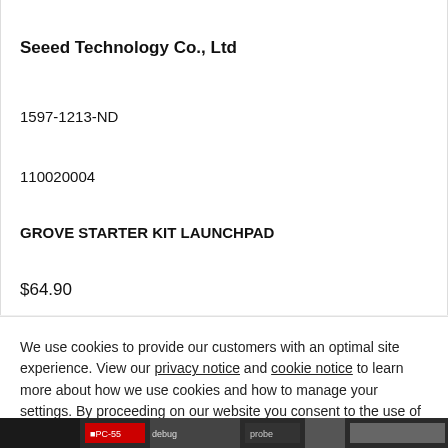Seeed Technology Co., Ltd
1597-1213-ND
110020004
GROVE STARTER KIT LAUNCHPAD
$64.90
We use cookies to provide our customers with an optimal site experience. View our privacy notice and cookie notice to learn more about how we use cookies and how to manage your settings. By proceeding on our website you consent to the use of cookies.
Continue
Exit
Privacy Notice